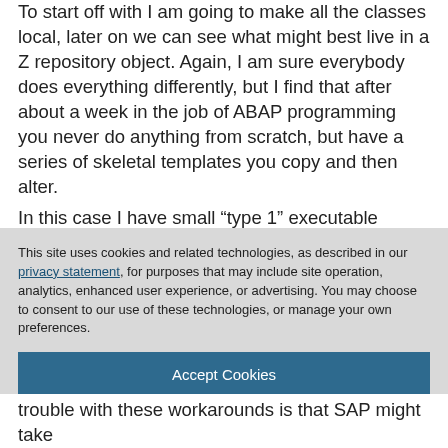To start off with I am going to make all the classes local, later on we can see what might best live in a Z repository object. Again, I am sure everybody does everything differently, but I find that after about a week in the job of ABAP programming you never do anything from scratch, but have a series of skeletal templates you copy and then alter. In this case I have small “type 1” executable program so I can have a selection screen (as opposed to the imaginary alternative) and inside that have some
This site uses cookies and related technologies, as described in our privacy statement, for purposes that may include site operation, analytics, enhanced user experience, or advertising. You may choose to consent to our use of these technologies, or manage your own preferences.
Accept Cookies
More Information
Privacy Policy | Powered by: TrustArc
trouble with these workarounds is that SAP might take